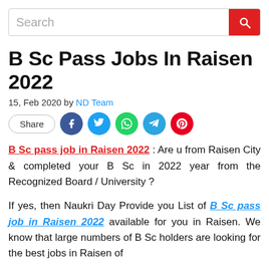Search
B Sc Pass Jobs In Raisen 2022
15, Feb 2020 by ND Team
[Figure (other): Social share buttons: Share, Facebook, Twitter, WhatsApp, Telegram, Pinterest]
B Sc pass job in Raisen 2022 : Are u from Raisen City & completed your B Sc in 2022 year from the Recognized Board / University ?
If yes, then Naukri Day Provide you List of B Sc pass job in Raisen 2022 available for you in Raisen. We know that large numbers of B Sc holders are looking for the best jobs in Raisen of their profile.